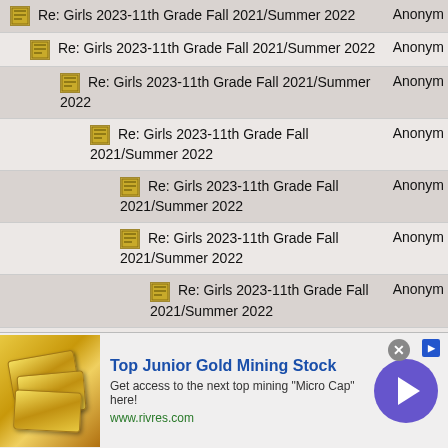| Topic | Author |
| --- | --- |
| Re: Girls 2023-11th Grade Fall 2021/Summer 2022 | Anonym |
| Re: Girls 2023-11th Grade Fall 2021/Summer 2022 | Anonym |
| Re: Girls 2023-11th Grade Fall 2021/Summer 2022 | Anonym |
| Re: Girls 2023-11th Grade Fall 2021/Summer 2022 | Anonym |
| Re: Girls 2023-11th Grade Fall 2021/Summer 2022 | Anonym |
| Re: Girls 2023-11th Grade Fall 2021/Summer 2022 | Anonym |
| Re: Girls 2023-11th Grade Fall 2021/Summer 2022 | Anonym |
| Re: Girls 2023-11th Grade Fall 2021/Summer 2022 | Anonym |
[Figure (infographic): Advertisement banner for Top Junior Gold Mining Stock from www.rivres.com with gold bar image and arrow button]